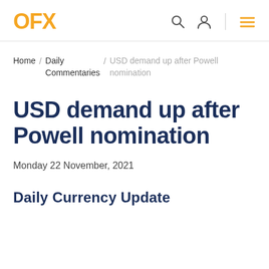OFX [logo] [search icon] [user icon] | [menu icon]
Home / Daily Commentaries / USD demand up after Powell nomination
USD demand up after Powell nomination
Monday 22 November, 2021
Daily Currency Update